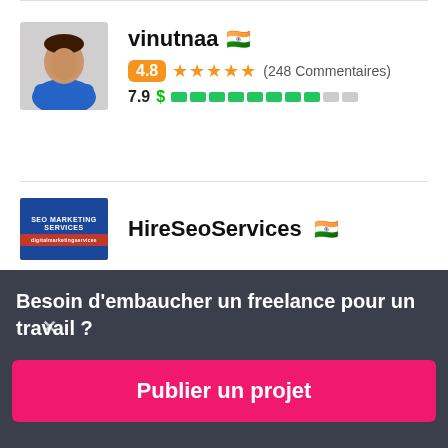[Figure (photo): Profile photo of freelancer vinutnaa, a man in blue shirt with arms crossed]
vinutnaa 🇮🇳
4.8 ★★★★★ (248 Commentaires)
7.9 $ ████████░░
[Figure (logo): HireSeoServices logo - blue background with SEO Marketing Services text]
HireSeoServices 🇮🇳
Besoin d'embaucher un freelance pour un travail ?
Publier un projet